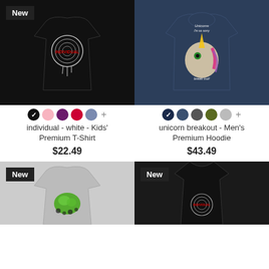[Figure (photo): Black kids' premium t-shirt with fingerprint and 'individual' text graphic, shown front view]
individual - white - Kids' Premium T-Shirt
$22.49
[Figure (photo): Navy men's premium hoodie shown from back with unicorn breakout graphic]
unicorn breakout - Men's Premium Hoodie
$43.49
[Figure (photo): Gray kids' t-shirt with green brain graphic, partially visible]
[Figure (photo): Black men's tank top with fingerprint graphic, partially visible]